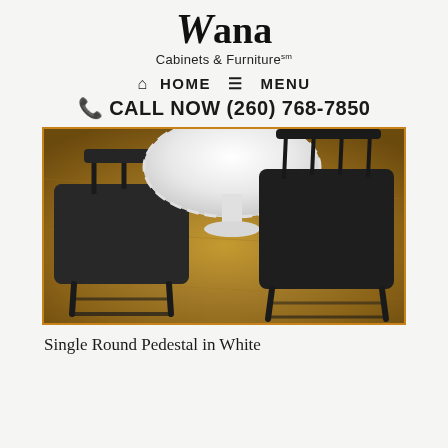Wana Cabinets & Furniture
HOME  MENU
CALL NOW (260) 768-7850
[Figure (photo): Photo of a white round pedestal dining table with two dark/black wooden chairs on a hardwood floor, viewed from above/angle showing the base of the table and chair seats.]
Single Round Pedestal in White